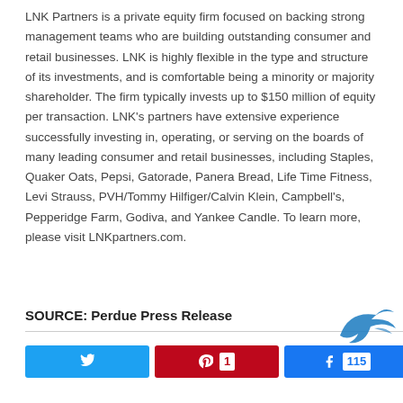LNK Partners is a private equity firm focused on backing strong management teams who are building outstanding consumer and retail businesses. LNK is highly flexible in the type and structure of its investments, and is comfortable being a minority or majority shareholder. The firm typically invests up to $150 million of equity per transaction. LNK's partners have extensive experience successfully investing in, operating, or serving on the boards of many leading consumer and retail businesses, including Staples, Quaker Oats, Pepsi, Gatorade, Panera Bread, Life Time Fitness, Levi Strauss, PVH/Tommy Hilfiger/Calvin Klein, Campbell's, Pepperidge Farm, Godiva, and Yankee Candle. To learn more, please visit LNKpartners.com.
SOURCE: Perdue Press Release
[Figure (other): Social share buttons: Twitter, Pinterest with count 1, Facebook with count 115, and total share count 116 SHARES]